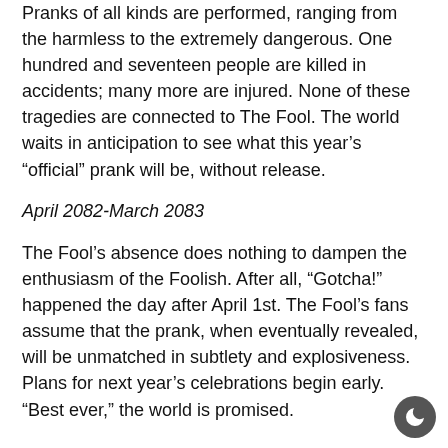Pranks of all kinds are performed, ranging from the harmless to the extremely dangerous. One hundred and seventeen people are killed in accidents; many more are injured. None of these tragedies are connected to The Fool. The world waits in anticipation to see what this year's “official” prank will be, without release.
April 2082-March 2083
The Fool’s absence does nothing to dampen the enthusiasm of the Foolish. After all, “Gotcha!” happened the day after April 1st. The Fool’s fans assume that the prank, when eventually revealed, will be unmatched in subtlety and explosiveness. Plans for next year’s celebrations begin early. “Best ever,” the world is promised.